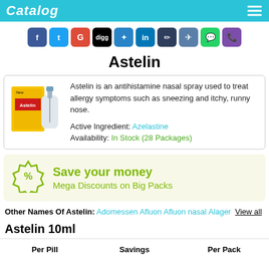Catalog
[Figure (infographic): Social media sharing icons: Facebook, Twitter, Google+, Digg, Delicious, LinkedIn, Pinterest, Flattr, WhatsApp, Viber]
Astelin
Astelin is an antihistamine nasal spray used to treat allergy symptoms such as sneezing and itchy, runny nose. Active Ingredient: Azelastine Availability: In Stock (28 Packages)
Save your money
Mega Discounts on Big Packs
Other Names Of Astelin: Adomessen Afluon Afluon nasal Alager View all
Astelin 10ml
| Per Pill | Savings | Per Pack |
| --- | --- | --- |